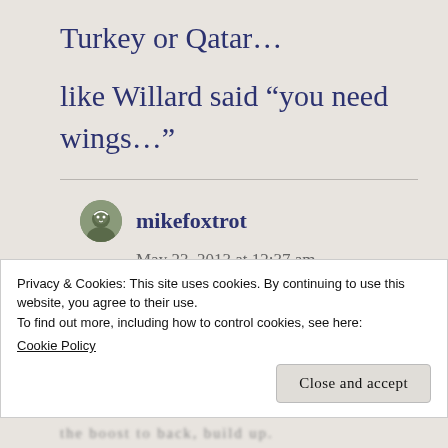Turkey or Qatar…
like Willard said “you need wings…”
mikefoxtrot
May 23, 2013 at 12:37 am
Privacy & Cookies: This site uses cookies. By continuing to use this website, you agree to their use.
To find out more, including how to control cookies, see here:
Cookie Policy
Close and accept